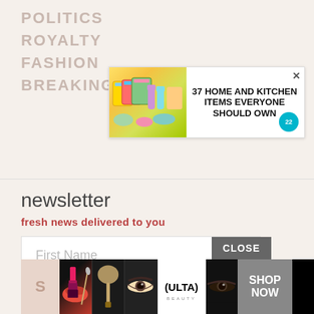POLITICS
ROYALTY
FASHION
BREAKING NEWS
[Figure (screenshot): Advertisement banner: 37 HOME AND KITCHEN ITEMS EVERYONE SHOULD OWN with colorful kitchen items image and badge showing '22']
newsletter
fresh news delivered to you
[Figure (screenshot): Newsletter signup form with First Name and Email input fields]
[Figure (screenshot): Black video player overlay with spinning loading indicator]
CLOSE
[Figure (screenshot): Bottom advertisement banner for Ulta Beauty with makeup images and SHOP NOW button]